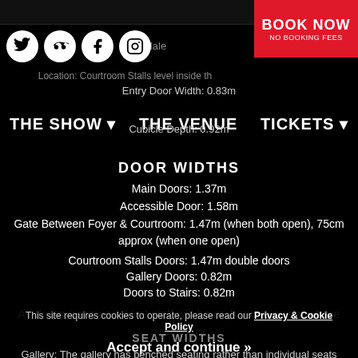Male | Location: Courtroom Stalls level inside th... | Entry Door Width: 0.83m | Cubicle Depth: 0.92m
THE SHOW | THE VENUE | TICKETS
DOOR WIDTHS
Main Doors: 1.37m
Accessible Door: 1.58m
Gate Between Foyer & Courtroom: 1.47m (when both open), 75cm approx (when one open)
Courtroom Stalls Doors: 1.47m double doors
Gallery Doors: 0.82m
Doors to Stairs: 0.82m
All doors are manual but staff will be on hand to assist where necessary.
This site requires cookies to operate, please read our Privacy & Cookie Policy
SEAT WIDTHS
Accept and continue »
Gallery: The gallery has benched seating rather than individual seats